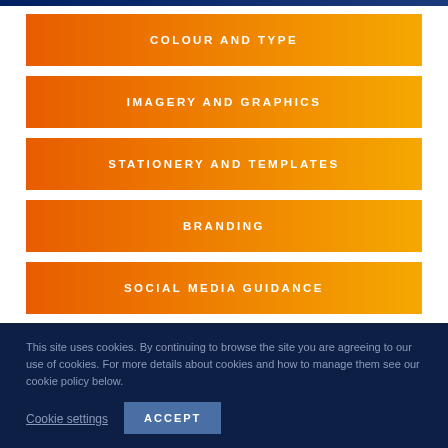COLOUR AND TYPE
IMAGERY AND GRAPHICS
STATIONERY AND TEMPLATES
BRANDING
SOCIAL MEDIA GUIDANCE
This site uses cookies. By continuing to browse the site you are agreeing to our use of cookies. For more details about cookies and how to manage them see our cookie policy below.
Cookie settings
ACCEPT